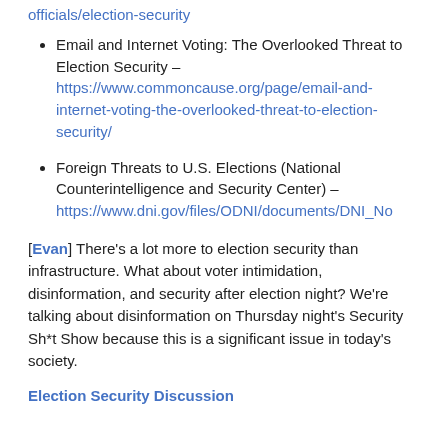Email and Internet Voting: The Overlooked Threat to Election Security – https://www.commoncause.org/page/email-and-internet-voting-the-overlooked-threat-to-election-security/
Foreign Threats to U.S. Elections (National Counterintelligence and Security Center) – https://www.dni.gov/files/ODNI/documents/DNI_No
[Evan] There's a lot more to election security than infrastructure. What about voter intimidation, disinformation, and security after election night? We're talking about disinformation on Thursday night's Security Sh*t Show because this is a significant issue in today's society.
Election Security Discussion